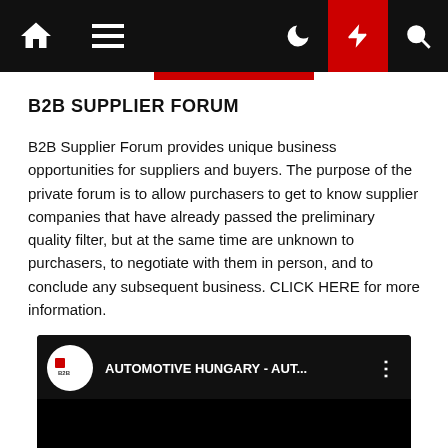Navigation bar with home, menu, dark mode, flash, and search icons
B2B SUPPLIER FORUM
B2B Supplier Forum provides unique business opportunities for suppliers and buyers. The purpose of the private forum is to allow purchasers to get to know supplier companies that have already passed the preliminary quality filter, but at the same time are unknown to purchasers, to negotiate with them in person, and to conclude any subsequent business. CLICK HERE for more information.
[Figure (screenshot): YouTube video embed thumbnail showing AUTOMOTIVE HUNGARY - AUT... with channel logo and menu dots]